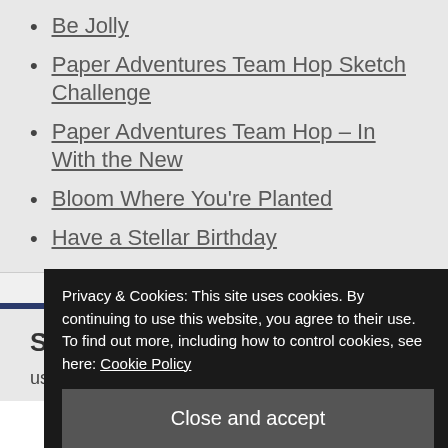Be Jolly
Paper Adventures Team Hop Sketch Challenge
Paper Adventures Team Hop – In With the New
Bloom Where You're Planted
Have a Stellar Birthday
Share the Love....
use. If you do use them I would
Privacy & Cookies: This site uses cookies. By continuing to use this website, you agree to their use.
To find out more, including how to control cookies, see here: Cookie Policy
Close and accept